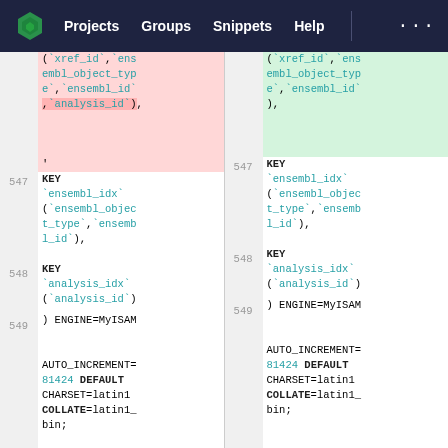Projects  Groups  Snippets  Help  ...
| line | left code | line | right code |
| --- | --- | --- | --- |
|  | (`xref_id`,`ensembl_object_type`,`ensembl_id`,`analysis_id`), |  | (`xref_id`,`ensembl_object_type`,`ensembl_id`), |
| 547 | KEY `ensembl_idx` (`ensembl_object_type`,`ensembl_id`), | 547 | KEY `ensembl_idx` (`ensembl_object_type`,`ensembl_id`), |
| 548 | KEY `analysis_idx` (`analysis_id`) | 548 | KEY `analysis_idx` (`analysis_id`) |
| 549 | ) ENGINE=MyISAM AUTO_INCREMENT=81424 DEFAULT CHARSET=latin1 COLLATE=latin1_bin; | 549 | ) ENGINE=MyISAM AUTO_INCREMENT=81424 DEFAULT CHARSET=latin1 COLLATE=latin1_bin; |